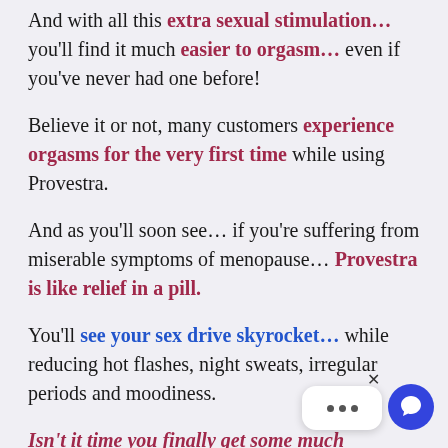And with all this extra sexual stimulation... you'll find it much easier to orgasm... even if you've never had one before!
Believe it or not, many customers experience orgasms for the very first time while using Provestra.
And as you'll soon see... if you're suffering from miserable symptoms of menopause... Provestra is like relief in a pill.
You'll see your sex drive skyrocket... while reducing hot flashes, night sweats, irregular periods and moodiness.
Isn't it time you finally get some much